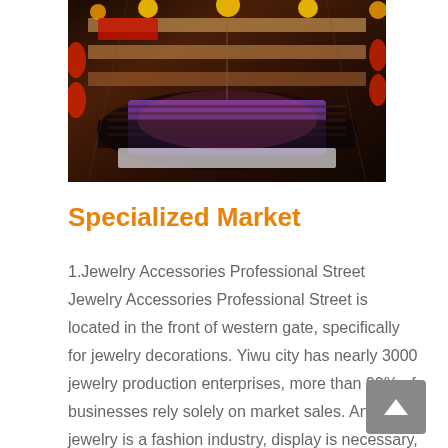[Figure (photo): Aerial/overhead view of a large indoor market or shopping center during a festive event, with colorful lantern decorations, crowds of people, and multiple floors visible.]
Specialized Market
1.Jewelry Accessories Professional Street Jewelry Accessories Professional Street is located in the front of western gate, specifically for jewelry decorations. Yiwu city has nearly 3000 jewelry production enterprises, more than 90% of businesses rely solely on market sales. And jewelry is a fashion industry, display is necessary, while jewelry trade sector in the